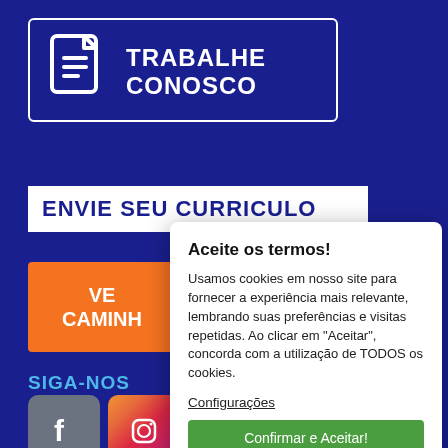[Figure (screenshot): Dark blue background webpage with 'Trabalhe Conosco' card showing a document icon and the text TRABALHE CONOSCO, below which is a white bar with ENVIE SEU CURRICULO, an orange button partially visible with VE/CAMINH text, SIGA-NOS label, and social media icons (Facebook, Instagram, TikTok)]
TRABALHE CONOSCO
ENVIE SEU CURRICULO
VE CAMINH
SIGA-NOS
Aceite os termos!
Usamos cookies em nosso site para fornecer a experiência mais relevante, lembrando suas preferências e visitas repetidas. Ao clicar em "Aceitar", concorda com a utilização de TODOS os cookies.
Configurações
Confirmar e Aceitar!